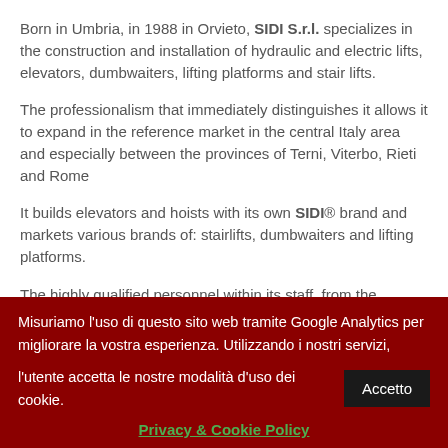Born in Umbria, in 1988 in Orvieto, SIDI S.r.l. specializes in the construction and installation of hydraulic and electric lifts, elevators, dumbwaiters, lifting platforms and stair lifts.
The professionalism that immediately distinguishes it allows it to expand in the reference market in the central Italy area and especially between the provinces of Terni, Viterbo, Rieti and Rome
It builds elevators and hoists with its own SIDI® brand and markets various brands of: stairlifts, dumbwaiters and lifting platforms.
The highly qualified personnel within its staff, from the designers to the installers and to all those figures who work in
Misuriamo l'uso di questo sito web tramite Google Analytics per migliorare la vostra esperienza. Utilizzando i nostri servizi, l'utente accetta le nostre modalità d'uso dei cookie.
Privacy & Cookie Policy